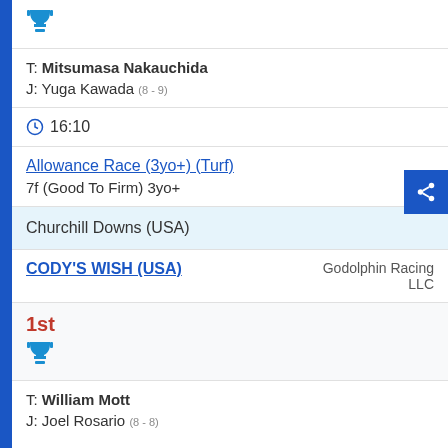[Figure (illustration): Blue trophy icon]
T: Mitsumasa Nakauchida
J: Yuga Kawada (8 - 9)
16:10
Allowance Race (3yo+) (Turf)
7f (Good To Firm) 3yo+
Churchill Downs (USA)
CODY'S WISH (USA)   Godolphin Racing LLC
1st
[Figure (illustration): Blue trophy icon]
T: William Mott
J: Joel Rosario (8 - 8)